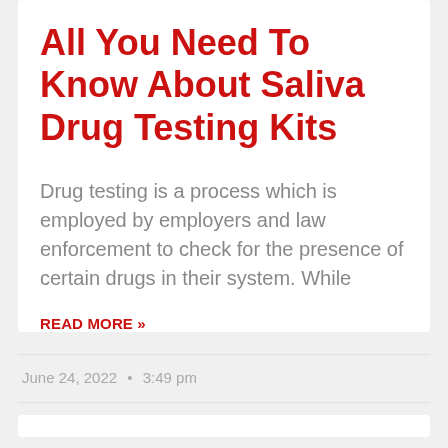All You Need To Know About Saliva Drug Testing Kits
Drug testing is a process which is employed by employers and law enforcement to check for the presence of certain drugs in their system. While
READ MORE »
June 24, 2022  •  3:49 pm